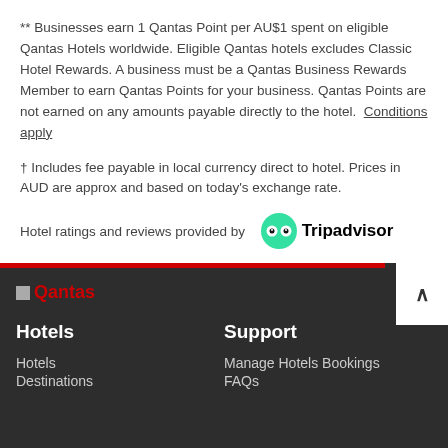** Businesses earn 1 Qantas Point per AU$1 spent on eligible Qantas Hotels worldwide. Eligible Qantas hotels excludes Classic Hotel Rewards. A business must be a Qantas Business Rewards Member to earn Qantas Points for your business. Qantas Points are not earned on any amounts payable directly to the hotel. Conditions apply
† Includes fee payable in local currency direct to hotel. Prices in AUD are approx and based on today's exchange rate.
Hotel ratings and reviews provided by [Tripadvisor logo]
Hotels | Support | Hotels | Manage Hotels Bookings